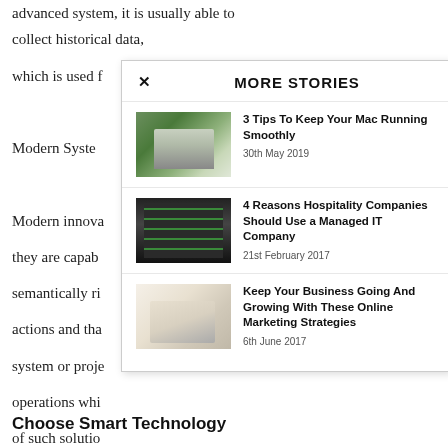advanced system, it is usually able to collect historical data, which is used f
Modern Syste
Modern innova they are capab semantically ri actions and the system or proje operations whi of such solutio state from the information ab
Choose Smart Technology
[Figure (screenshot): MORE STORIES overlay panel with X close button, showing 3 article previews with thumbnail images and titles]
3 Tips To Keep Your Mac Running Smoothly — 30th May 2019
4 Reasons Hospitality Companies Should Use a Managed IT Company — 21st February 2017
Keep Your Business Going And Growing With These Online Marketing Strategies — 6th June 2017